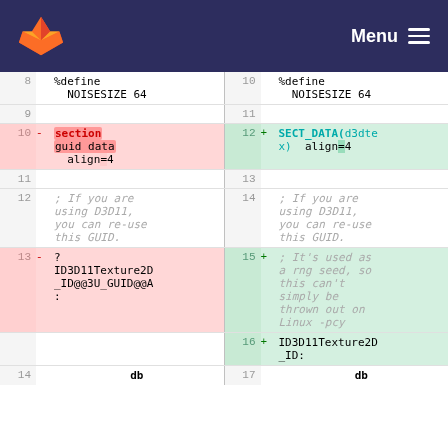GitLab diff view header with logo and Menu
[Figure (screenshot): Code diff view showing two columns: left (old) and right (new). Lines 8-14 on left, lines 10-17 on right. Shows assembly-style code diff with removed section directive and added SECT_DATA macro.]